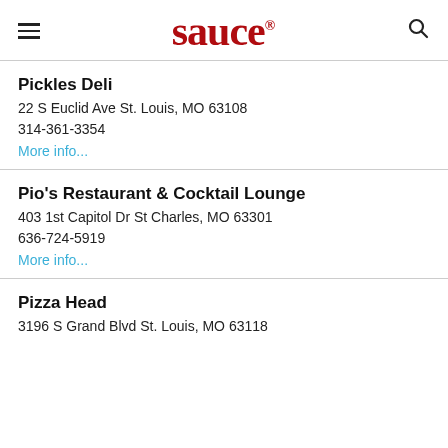sauce
Pickles Deli
22 S Euclid Ave St. Louis, MO 63108
314-361-3354
More info...
Pio's Restaurant & Cocktail Lounge
403 1st Capitol Dr St Charles, MO 63301
636-724-5919
More info...
Pizza Head
3196 S Grand Blvd St. Louis, MO 63118